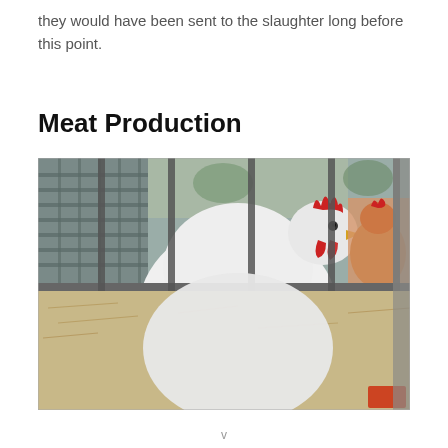they would have been sent to the slaughter long before this point.
Meat Production
[Figure (photo): A large white chicken (broiler/meat chicken) in a wire cage with metal bars in the foreground and background. The chicken has a red comb. Hay/wood shavings are on the floor. Another smaller orange/red chicken is visible to the right. The cage setup appears to be at a fair or exhibition.]
v